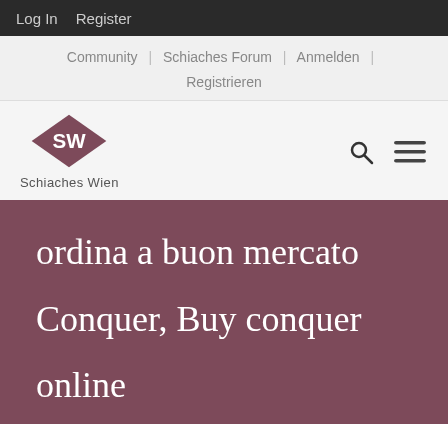Log In  Register
Community | Schiaches Forum | Anmelden | Registrieren
[Figure (logo): Schiaches Wien logo: a dark rose/mauve diamond shape with 'SW' text inside, and 'Schiaches Wien' text below]
ordina a buon mercato

Conquer, Buy conquer

online